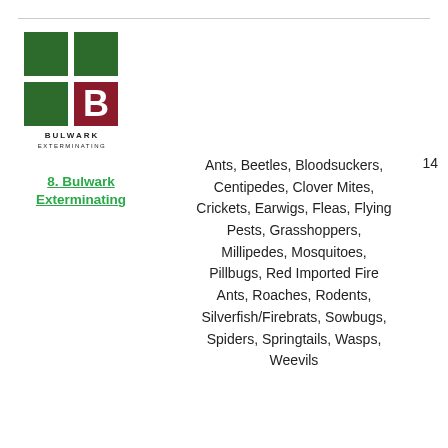[Figure (logo): Bulwark Exterminating logo: two green squares on top, one green square bottom-left and a dark red B letter bottom-right, with BULWARK EXTERMINATING text below]
8. Bulwark Exterminating
Ants, Beetles, Bloodsuckers, Centipedes, Clover Mites, Crickets, Earwigs, Fleas, Flying Pests, Grasshoppers, Millipedes, Mosquitoes, Pillbugs, Red Imported Fire Ants, Roaches, Rodents, Silverfish/Firebrats, Sowbugs, Spiders, Springtails, Wasps, Weevils
14